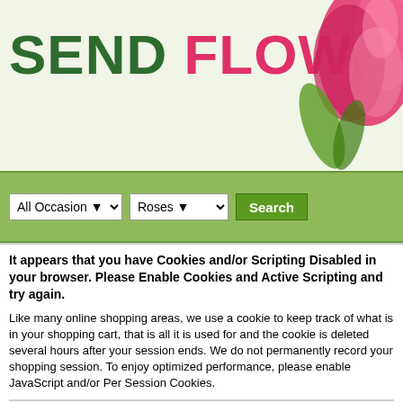[Figure (illustration): Website banner with large text SEND FLOWERS TODAY in green and pink, with a pink tulip flower on the right side, on a light green background]
[Figure (screenshot): Search bar with two dropdowns: 'All Occasion' and 'Roses', and a green Search button, on a green background]
It appears that you have Cookies and/or Scripting Disabled in your browser. Please Enable Cookies and Active Scripting and try again.
Like many online shopping areas, we use a cookie to keep track of what is in your shopping cart, that is all it is used for and the cookie is deleted several hours after your session ends. We do not permanently record your shopping session. To enjoy optimized performance, please enable JavaScript and/or Per Session Cookies.
If you are unable to order please call 800.570.0445
Goldi Locks
Vibrant and sunny, this vivid array of bright yellow flowers brims with jovial beauty and cheerful charm! Sure to illuminate any room, these...